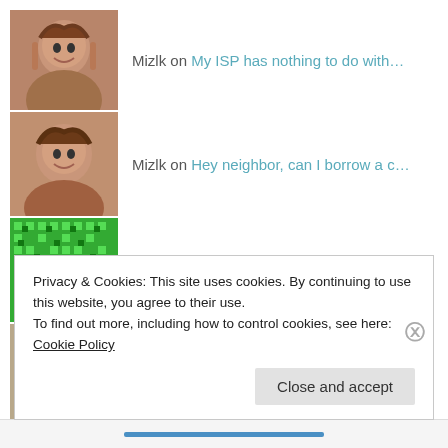Mizlk on My ISP has nothing to do with…
Mizlk on Hey neighbor, can I borrow a c…
Nancy on Well, wasn't that just preciou…
Pensiuni Arges on Peacock or Pineapple choose yo…
Nancy on Before you slide home, make su…
Privacy & Cookies: This site uses cookies. By continuing to use this website, you agree to their use.
To find out more, including how to control cookies, see here: Cookie Policy
Close and accept